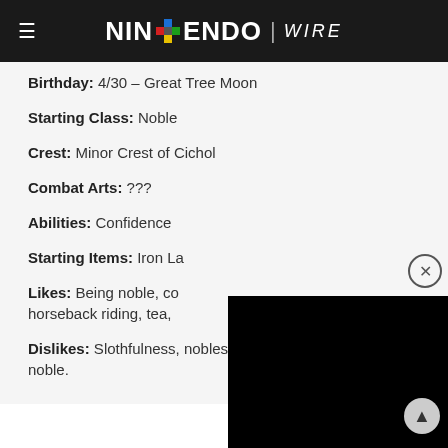NINTENDO WIRE
Birthday: 4/30 – Great Tree Moon
Starting Class: Noble
Crest: Minor Crest of Cichol
Combat Arts: ???
Abilities: Confidence
Starting Items: Iron La[nce...]
Likes: Being noble, co[oking,] horseback riding, tea, [...]
Dislikes: Slothfulness, nobles who are not noble.
[Figure (other): Black video/ad overlay block partially covering the text, with a close (X) button and a scroll-up arrow button.]